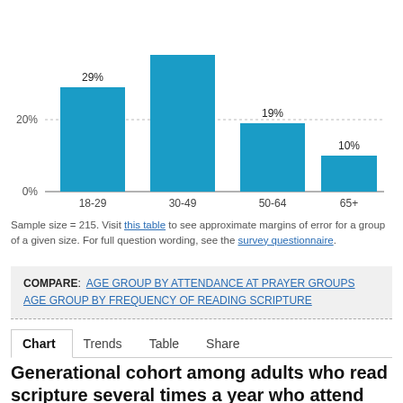[Figure (bar-chart): ]
Sample size = 215. Visit this table to see approximate margins of error for a group of a given size. For full question wording, see the survey questionnaire.
COMPARE: AGE GROUP BY ATTENDANCE AT PRAYER GROUPS  AGE GROUP BY FREQUENCY OF READING SCRIPTURE
Chart  Trends  Table  Share
Generational cohort among adults who read scripture several times a year who attend prayer